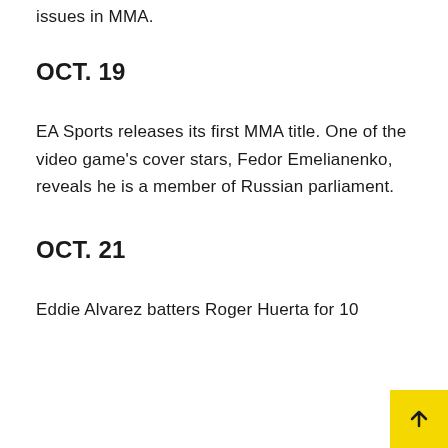issues in MMA.
OCT. 19
EA Sports releases its first MMA title. One of the video game's cover stars, Fedor Emelianenko, reveals he is a member of Russian parliament.
OCT. 21
Eddie Alvarez batters Roger Huerta for 10